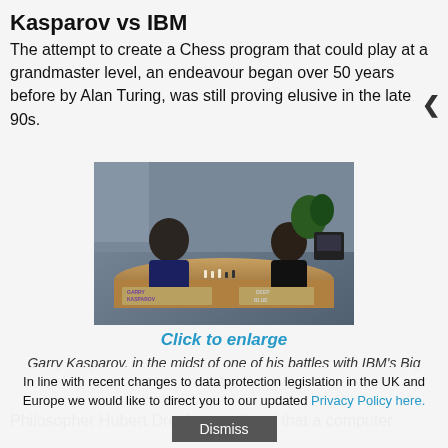Kasparov vs IBM
The attempt to create a Chess program that could play at a grandmaster level, an endeavour began over 50 years before by Alan Turing, was still proving elusive in the late 90s.
[Figure (photo): Garry Kasparov sitting at a chess table across from an IBM operator, playing a match with IBM's Deep Blue computer. Name placards reading 'GARRY KASPAROV' and 'DEEP BLUE' are visible on the table.]
Click to enlarge
Garry Kasparov, in the midst of one of his battles with IBM's Big Blue
Philosopher Hubert Dreyfus predicted that a computer
In line with recent changes to data protection legislation in the UK and Europe we would like to direct you to our updated Privacy Policy here.
Dismiss